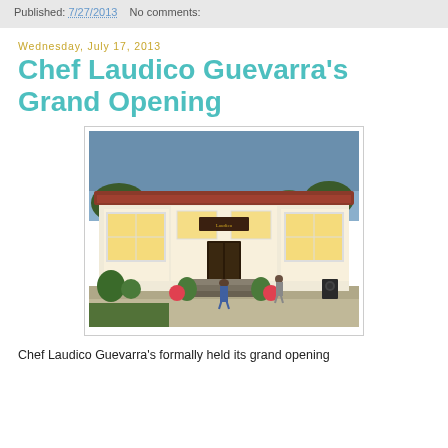Published: 7/27/2013    No comments:
Wednesday, July 17, 2013
Chef Laudico Guevarra's Grand Opening
[Figure (photo): Exterior photo of Chef Laudico Guevarra's restaurant at dusk, showing a white colonial-style building with large windows glowing warmly from inside, decorated with tropical plants and flowers, with people gathered at the entrance stairway.]
Chef Laudico Guevarra's formally held its grand opening